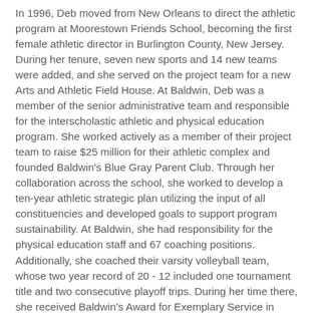In 1996, Deb moved from New Orleans to direct the athletic program at Moorestown Friends School, becoming the first female athletic director in Burlington County, New Jersey. During her tenure, seven new sports and 14 new teams were added, and she served on the project team for a new Arts and Athletic Field House. At Baldwin, Deb was a member of the senior administrative team and responsible for the interscholastic athletic and physical education program. She worked actively as a member of their project team to raise $25 million for their athletic complex and founded Baldwin's Blue Gray Parent Club. Through her collaboration across the school, she worked to develop a ten-year athletic strategic plan utilizing the input of all constituencies and developed goals to support program sustainability. At Baldwin, she had responsibility for the physical education staff and 67 coaching positions. Additionally, she coached their varsity volleyball team, whose two year record of 20 - 12 included one tournament title and two consecutive playoff trips. During her time there, she received Baldwin's Award for Exemplary Service in 2018.